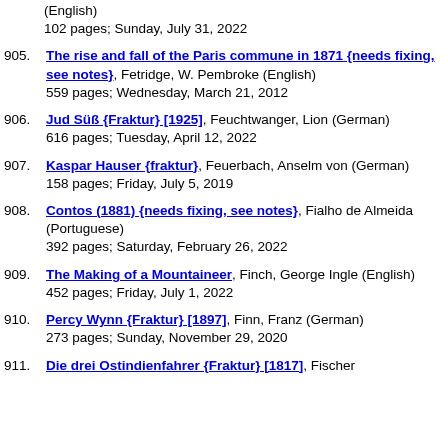(English) 102 pages; Sunday, July 31, 2022
905. The rise and fall of the Paris commune in 1871 {needs fixing, see notes}, Fetridge, W. Pembroke (English) 559 pages; Wednesday, March 21, 2012
906. Jud Süß {Fraktur} [1925], Feuchtwanger, Lion (German) 616 pages; Tuesday, April 12, 2022
907. Kaspar Hauser {fraktur}, Feuerbach, Anselm von (German) 158 pages; Friday, July 5, 2019
908. Contos (1881) {needs fixing, see notes}, Fialho de Almeida (Portuguese) 392 pages; Saturday, February 26, 2022
909. The Making of a Mountaineer, Finch, George Ingle (English) 452 pages; Friday, July 1, 2022
910. Percy Wynn {Fraktur} [1897], Finn, Franz (German) 273 pages; Sunday, November 29, 2020
911. Die drei Ostindienfahrer {Fraktur} [1817], Fischer